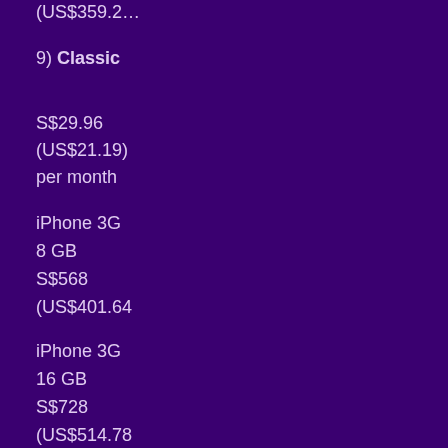(US$359.2…
9) Classic
S$29.96
(US$21.19)
per month
iPhone 3G
8 GB
S$568
(US$401.64
iPhone 3G
16 GB
S$728
(US$514.78
10) iOne Plus
S$25.68
(US$18.16)
per month
100 mins
free
outgoing